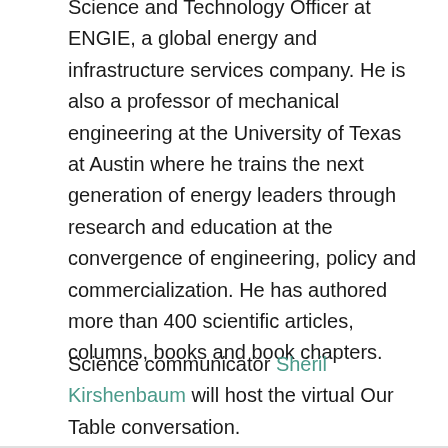Science and Technology Officer at ENGIE, a global energy and infrastructure services company. He is also a professor of mechanical engineering at the University of Texas at Austin where he trains the next generation of energy leaders through research and education at the convergence of engineering, policy and commercialization. He has authored more than 400 scientific articles, columns, books and book chapters.
Science communicator Sheril Kirshenbaum will host the virtual Our Table conversation.